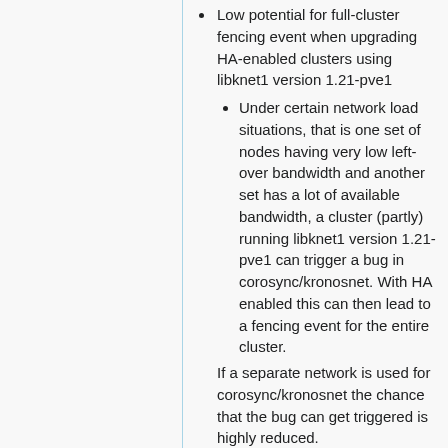Low potential for full-cluster fencing event when upgrading HA-enabled clusters using libknet1 version 1.21-pve1
Under certain network load situations, that is one set of nodes having very low left-over bandwidth and another set has a lot of available bandwidth, a cluster (partly) running libknet1 version 1.21-pve1 can trigger a bug in corosync/kronosnet. With HA enabled this can then lead to a fencing event for the entire cluster.
If a separate network is used for corosync/kronosnet the chance that the bug can get triggered is highly reduced.
See bug #3672 for details.